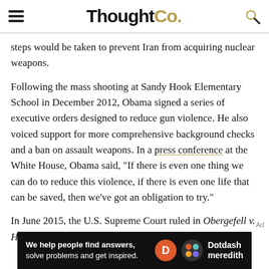ThoughtCo.
steps would be taken to prevent Iran from acquiring nuclear weapons.
Following the mass shooting at Sandy Hook Elementary School in December 2012, Obama signed a series of executive orders designed to reduce gun violence. He also voiced support for more comprehensive background checks and a ban on assault weapons. In a press conference at the White House, Obama said, "If there is even one thing we can do to reduce this violence, if there is even one life that can be saved, then we've got an obligation to try."
In June 2015, the U.S. Supreme Court ruled in Obergefell v. Hodges that marriage equality is protected under the equal
[Figure (other): Dotdash Meredith advertisement banner: 'We help people find answers, solve problems and get inspired.' with Dotdash Meredith logo]